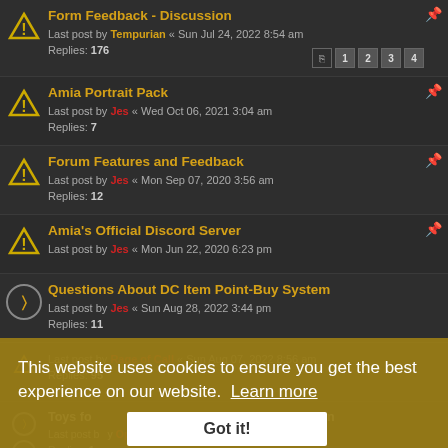Form Feedback - Discussion
Last post by Tempurian « Sun Jul 24, 2022 8:54 am
Replies: 176
Amia Portrait Pack
Last post by Jes « Wed Oct 06, 2021 3:04 am
Replies: 7
Forum Features and Feedback
Last post by Jes « Mon Sep 07, 2020 3:56 am
Replies: 12
Amia's Official Discord Server
Last post by Jes « Mon Jun 22, 2020 6:23 pm
Questions About DC Item Point-Buy System
Last post by Jes « Sun Aug 28, 2022 3:44 pm
Replies: 11
Last post by Rage of Call « Sun Aug 07, 2022 8:56 am
Replies: 95
Toys for the dev team. Cost explanation
Last post by Opustus « Sep 04, 2022 11:10 am
Replies: 1
PnP Epic Spells, opinions
This website uses cookies to ensure you get the best experience on our website. Learn more
Got it!